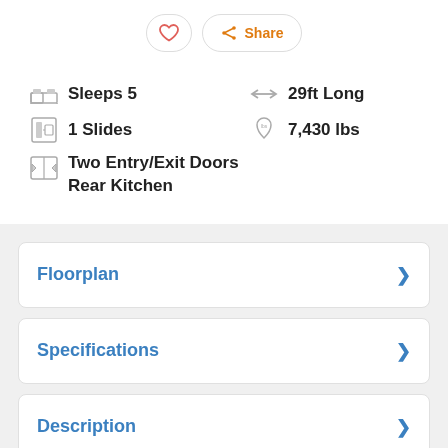[Figure (other): Heart (favorite) button and Share button in pill-shaped outlines]
Sleeps 5
29ft Long
1 Slides
7,430 lbs
Two Entry/Exit Doors
Rear Kitchen
Floorplan
Specifications
Description